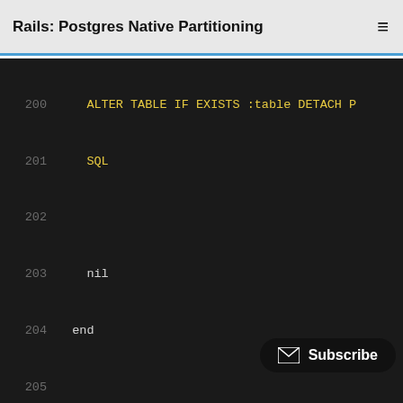Rails: Postgres Native Partitioning
[Figure (screenshot): Code editor screenshot showing Ruby code lines 200-218 with syntax highlighting on dark background. Lines include ALTER TABLE SQL, def self.exists?, raise ArgumentError, ActiveRecord::Base.connection.table_exi, def initialize, self.class.validate_t, self.class.validate_fro]
[Figure (other): Subscribe button overlay in bottom right corner]